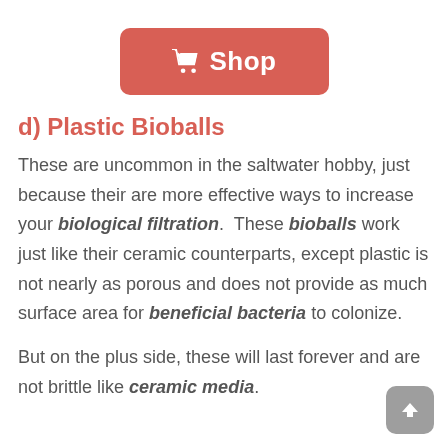[Figure (other): Red rounded-rectangle Shop button with a shopping cart icon]
d) Plastic Bioballs
These are uncommon in the saltwater hobby, just because their are more effective ways to increase your biological filtration.  These bioballs work just like their ceramic counterparts, except plastic is not nearly as porous and does not provide as much surface area for beneficial bacteria to colonize.
But on the plus side, these will last forever and are not brittle like ceramic media.